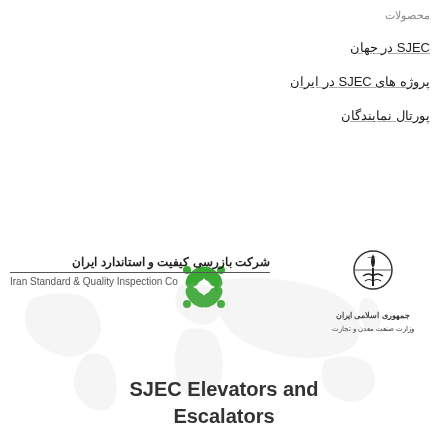محصولات
SJEC در جهان
پروژه های SJEC در ایران
پورتال نمایندگان
[Figure (logo): Iran Standard & Quality Inspection Co logo with green flower/propeller symbol]
شرکت بازرسی کیفیت و استاندارد ایران
Iran Standard & Quality Inspection Co
[Figure (logo): Islamic Republic of Iran Ministry of Industry, Mine and Trade emblem with Arabic/Persian text: جمهوری اسلامی ایران / وزارت صنعت معدن و تجارت]
[Figure (illustration): Faded world map background illustration]
SJEC Elevators and Escalators